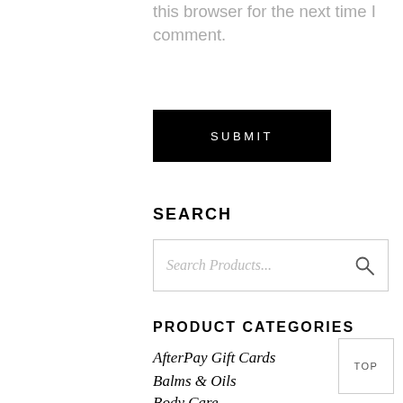this browser for the next time I comment.
SUBMIT
SEARCH
Search Products...
PRODUCT CATEGORIES
AfterPay Gift Cards
Balms & Oils
Body Care
Brows
Brushes
TOP